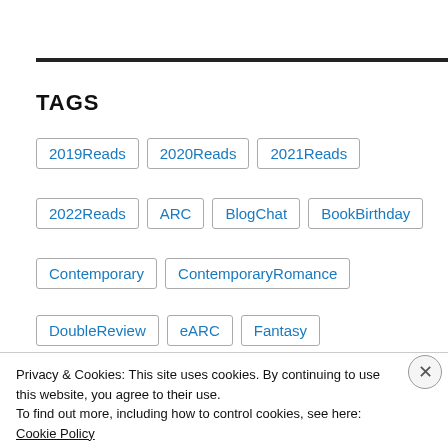TAGS
2019Reads
2020Reads
2021Reads
2022Reads
ARC
BlogChat
BookBirthday
Contemporary
ContemporaryRomance
DoubleReview
eARC
Fantasy
Privacy & Cookies: This site uses cookies. By continuing to use this website, you agree to their use.
To find out more, including how to control cookies, see here: Cookie Policy
Close and accept